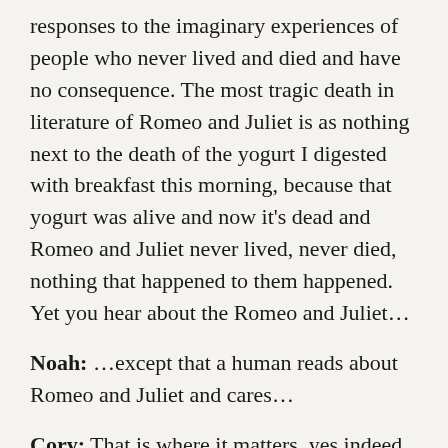responses to the imaginary experiences of people who never lived and died and have no consequence. The most tragic death in literature of Romeo and Juliet is as nothing next to the death of the yogurt I digested with breakfast this morning, because that yogurt was alive and now it's dead and Romeo and Juliet never lived, never died, nothing that happened to them happened. Yet you hear about the Romeo and Juliet...
Noah: ...except that a human reads about Romeo and Juliet and cares...
Cory: That is where it matters, yes indeed. But the mechanism by which we care is our build this model which is then subjected to the author's torments, and then we feel empathy for the model.